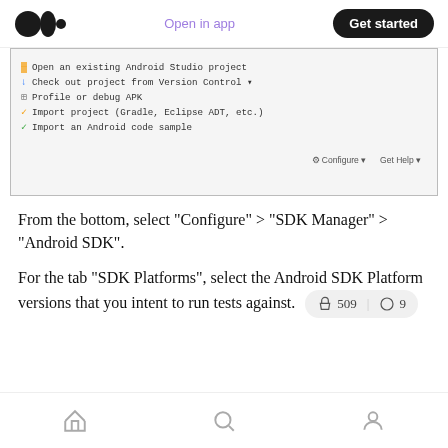Medium logo | Open in app | Get started
[Figure (screenshot): Android Studio welcome screen showing menu options: Open an existing Android Studio project, Check out project from Version Control, Profile or debug APK, Import project (Gradle, Eclipse ADT, etc.), Import an Android code sample. Bottom bar shows Configure and Get Help options.]
From the bottom, select “Configure” > “SDK Manager” > “Android SDK”.
For the tab “SDK Platforms”, select the Android SDK Platform versions that you intent to run tests against.
Home | Search | Profile — bottom navigation bar